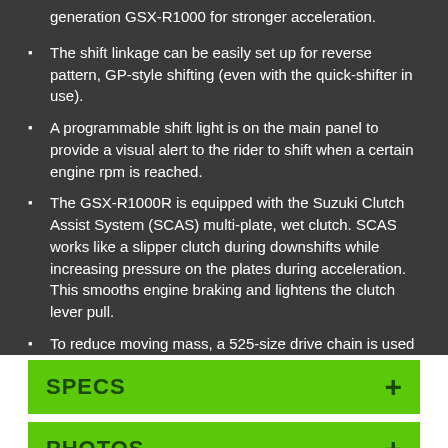generation GSX-R1000 for stronger acceleration.
The shift linkage can be easily set up for reverse pattern, GP-style shifting (even with the quick-shifter in use).
A programmable shift light is on the main panel to provide a visual alert to the rider to shift when a certain engine rpm is reached.
The GSX-R1000R is equipped with the Suzuki Clutch Assist System (SCAS) multi-plate, wet clutch. SCAS works like a slipper clutch during downshifts while increasing pressure on the plates during acceleration. This smooths engine braking and lightens the clutch lever pull.
To reduce moving mass, a 525-size drive chain is used with a 45/17 final sprocket ratio that complement the large rear tire dimensions.
SPECS
PHOTOS